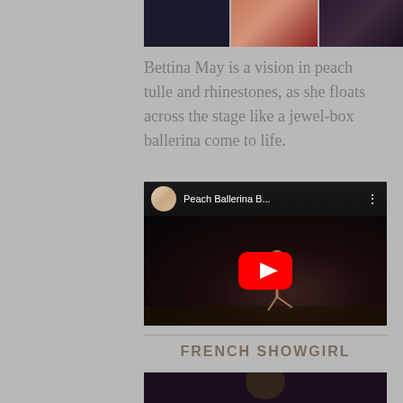[Figure (photo): Three cropped performance/dance photos at top]
Bettina May is a vision in peach tulle and rhinestones, as she floats across the stage like a jewel-box ballerina come to life.
[Figure (screenshot): YouTube video embed showing 'Peach Ballerina B...' with a dancer on stage and YouTube play button overlay]
French Showgirl
[Figure (photo): Bottom cropped photo, partially visible, dark background with performer]